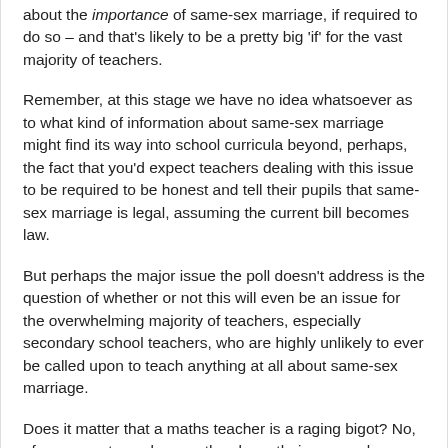about the importance of same-sex marriage, if required to do so – and that's likely to be a pretty big 'if' for the vast majority of teachers.
Remember, at this stage we have no idea whatsoever as to what kind of information about same-sex marriage might find its way into school curricula beyond, perhaps, the fact that you'd expect teachers dealing with this issue to be required to be honest and tell their pupils that same-sex marriage is legal, assuming the current bill becomes law.
But perhaps the major issue the poll doesn't address is the question of whether or not this will even be an issue for the overwhelming majority of teachers, especially secondary school teachers, who are highly unlikely to ever be called upon to teach anything at all about same-sex marriage.
Does it matter that a maths teacher is a raging bigot? No, of course not – as long as they keep their personal opinions to themselves and get on with their job of teaching maths then there isn't going to be a problem at all.